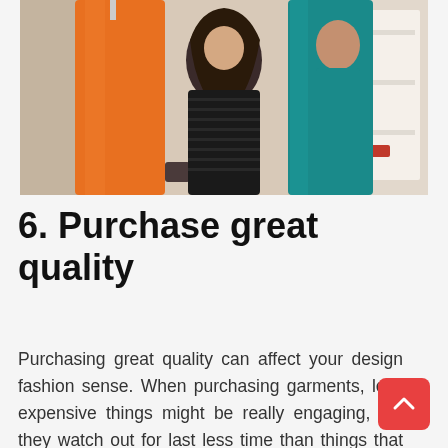[Figure (photo): Three women in a clothing store or closet holding up dresses — an orange dress on the left, a black textured dress in the center, and a teal dress on the right. Shelves with shoes visible in the background.]
6. Purchase great quality
Purchasing great quality can affect your design fashion sense. When purchasing garments, less expensive things might be really engaging, yet they watch out for last less time than things that are of more excellent. Modest thing will be to wear openings and begin to tear at the creases, which you may figure individuals wo see, however they will